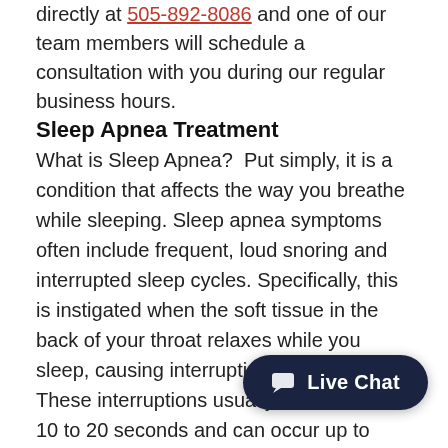directly at 505-892-8086 and one of our team members will schedule a consultation with you during our regular business hours.
Sleep Apnea Treatment
What is Sleep Apnea?  Put simply, it is a condition that affects the way you breathe while sleeping. Sleep apnea symptoms often include frequent, loud snoring and interrupted sleep cycles. Specifically, this is instigated when the soft tissue in the back of your throat relaxes while you sleep, causing interruptions in breathing. These interruptions usually last between 10 to 20 seconds and can occur up to hundreds of times a night. Sleep apnea is typically more pre... smokers, and the elderly; it can also cause a wide range of problems from sleep disturbances to...